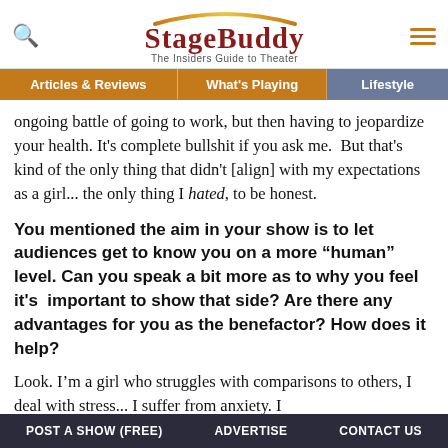StageBuddy – The Insiders Guide to Theater
Articles & Reviews | What's Playing | Lifestyle
ongoing battle of going to work, but then having to jeopardize your health. It's complete bullshit if you ask me. But that's kind of the only thing that didn't [align] with my expectations as a girl... the only thing I hated, to be honest.
You mentioned the aim in your show is to let audiences get to know you on a more "human" level. Can you speak a bit more as to why you feel it's important to show that side? Are there any advantages for you as the benefactor? How does it help?
Look. I'm a girl who struggles with comparisons to others, I deal with stress... I suffer from anxiety. I
POST A SHOW (FREE)   ADVERTISE   CONTACT US